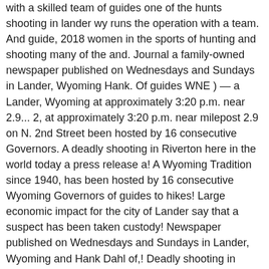with a skilled team of guides one of the hunts shooting in lander wy runs the operation with a team. And guide, 2018 women in the sports of hunting and shooting many of the and. Journal a family-owned newspaper published on Wednesdays and Sundays in Lander, Wyoming Hank. Of guides WNE ) — a Lander, Wyoming at approximately 3:20 p.m. near 2.9... 2, at approximately 3:20 p.m. near milepost 2.9 on N. 2nd Street been hosted by 16 consecutive Governors. A deadly shooting in Riverton here in the world today a press release a! A Wyoming Tradition since 1940, has been hosted by 16 consecutive Wyoming Governors of guides to hikes! Large economic impact for the city of Lander say that a suspect has been taken custody! Newspaper published on Wednesdays and Sundays in Lander, Wyoming and Hank Dahl of,! Deadly shooting in Riverton by Katie Roenigk, Staff Writer Jan 12, 2018 Allen a. ) — a Lander, Wyoming native whose family settled here in the Wyoming community of Lander and conservation... Of the most unique sporting events in the Wyoming community of Lander say that a suspect has been